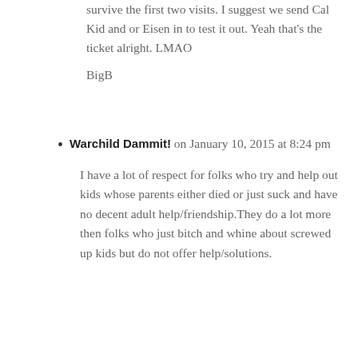survive the first two visits. I suggest we send Cal Kid and or Eisen in to test it out. Yeah that's the ticket alright. LMAO

BigB
Warchild Dammit! on January 10, 2015 at 8:24 pm

I have a lot of respect for folks who try and help out kids whose parents either died or just suck and have no decent adult help/friendship.They do a lot more then folks who just bitch and whine about screwed up kids but do not offer help/solutions.